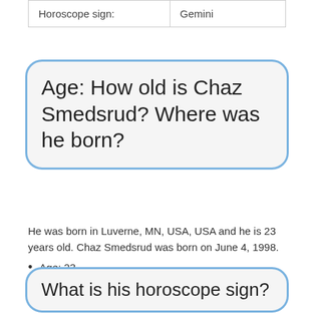| Horoscope sign: | Gemini |
Age: How old is Chaz Smedsrud? Where was he born?
He was born in Luverne, MN, USA, USA and he is 23 years old. Chaz Smedsrud was born on June 4, 1998.
Age: 23
Nationality: unknown
Ethnicity: unknown
What is his horoscope sign?